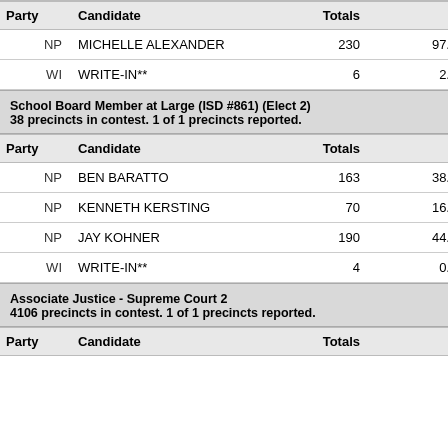| Party | Candidate | Totals | Pct |
| --- | --- | --- | --- |
| NP | MICHELLE ALEXANDER | 230 | 97.46% |
| WI | WRITE-IN** | 6 | 2.54% |
School Board Member at Large (ISD #861) (Elect 2)
38 precincts in contest. 1 of 1 precincts reported.
| Party | Candidate | Totals | Pct |
| --- | --- | --- | --- |
| NP | BEN BARATTO | 163 | 38.17% |
| NP | KENNETH KERSTING | 70 | 16.39% |
| NP | JAY KOHNER | 190 | 44.50% |
| WI | WRITE-IN** | 4 | 0.94% |
Associate Justice - Supreme Court 2
4106 precincts in contest. 1 of 1 precincts reported.
| Party | Candidate | Totals | Pct |
| --- | --- | --- | --- |